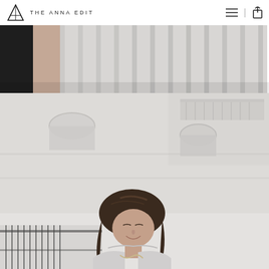THE ANNA EDIT
[Figure (photo): Partial photo showing clothing/fabric detail with striped pattern in black and light colors]
[Figure (photo): Woman with long dark brown hair looking down, smiling, standing in front of a white classical European building with arched windows and balconies. She appears to be wearing a grey/white outfit and carrying a bag.]